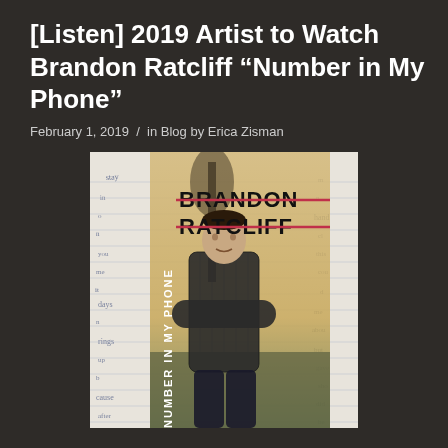[Listen] 2019 Artist to Watch Brandon Ratcliff "Number in My Phone"
February 1, 2019 / in Blog by Erica Zisman
[Figure (photo): Album cover for Brandon Ratcliff 'Number in My Phone'. Shows the artist (a young man with arms crossed wearing a plaid shirt) standing outdoors near a tree. The background features handwritten notebook paper. Artist name BRANDON RATCLIFF appears at top with a strikethrough line, and the song title NUMBER IN MY PHONE is displayed vertically on the left side.]